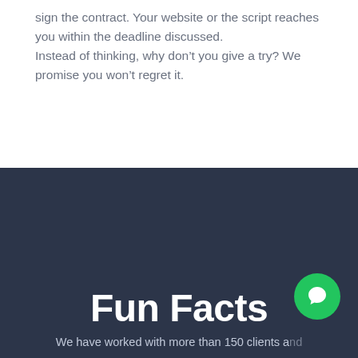sign the contract. Your website or the script reaches you within the deadline discussed.
Instead of thinking, why don't you give a try? We promise you won't regret it.
Fun Facts
We have worked with more than 150 clients and successfully delivered them...